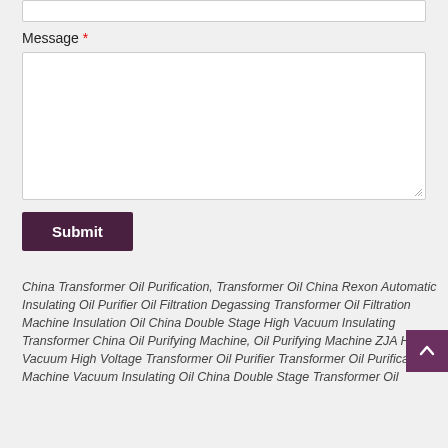[Figure (screenshot): A web form with a text input field at the top (partially visible), a 'Message' label with red asterisk required marker, a large textarea input box, a dark purple 'Submit' button, and below that italic text listing transformer oil purification product keywords. A purple scroll-to-top button is visible at the right side.]
Message *
Submit
China Transformer Oil Purification, Transformer Oil China Rexon Automatic Insulating Oil Purifier Oil Filtration Degassing Transformer Oil Filtration Machine Insulation Oil China Double Stage High Vacuum Insulating Transformer China Oil Purifying Machine, Oil Purifying Machine ZJA High Vacuum High Voltage Transformer Oil Purifier Transformer Oil Purification Machine Vacuum Insulating Oil China Double Stage Transformer Oil Purification Section (Subtitle) Other Content...